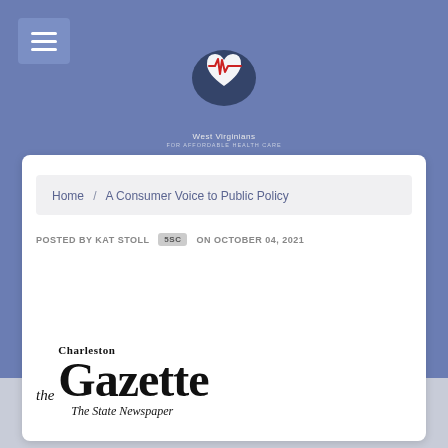[Figure (logo): West Virginians for Affordable Health Care logo with WV state outline and heart/EKG symbol]
Home / A Consumer Voice to Public Policy
POSTED BY KAT STOLL 5SC ON OCTOBER 04, 2021
[Figure (logo): The Charleston Gazette - The State Newspaper logo]